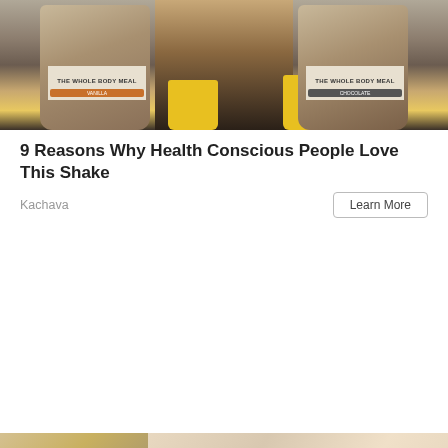[Figure (photo): Two bags of Kachava 'The Whole Body Meal' protein shake products — one Vanilla flavor and one Chocolate flavor — held by a person's torso with yellow cups visible. Beach/outdoor setting.]
9 Reasons Why Health Conscious People Love This Shake
Kachava
Learn More
[Figure (photo): Close-up of hands holding a yellow object, with a glass jar/pitcher on the left side, warm blurred background.]
COMMENT